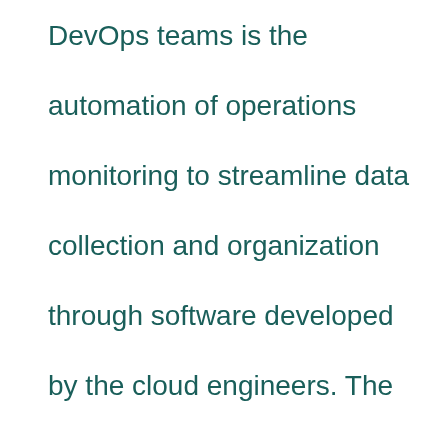DevOps teams is the automation of operations monitoring to streamline data collection and organization through software developed by the cloud engineers. The